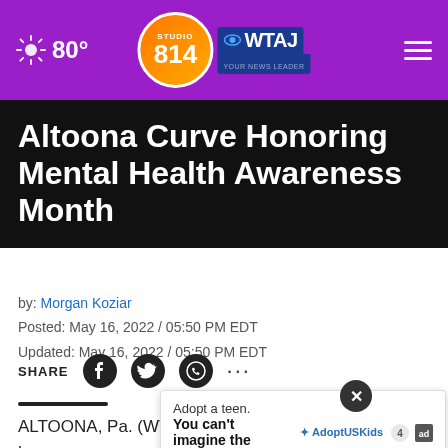80° | STUDIO 814 | OWTAJ YOUR NEWS LEADER
Altoona Curve Honoring Mental Health Awareness Month
by: Morgan Koziar
Posted: May 16, 2022 / 05:50 PM EDT
Updated: May 16, 2022 / 05:50 PM EDT
SHARE
ALTOONA, Pa. (WTAJ) — The Altoona Curve back home ... May 21 as they take on the Richmond Flying Squirrels